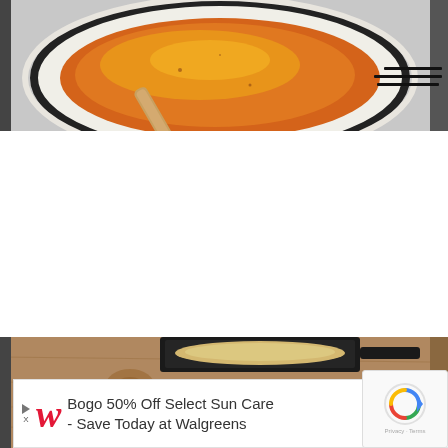[Figure (photo): Close-up photo of a bowl of orange/golden soup or sauce with a wooden chopstick or spoon resting across the bowl, viewed from above. Bowl appears to be white ceramic on a dark surface.]
[Figure (photo): Partial photo of a wooden cutting board or serving board with a dark pan/skillet visible at the top, showing a creamy or golden colored food item.]
[Figure (infographic): Walgreens advertisement banner: 'Bogo 50% Off Select Sun Care - Save Today at Walgreens' with Walgreens cursive W logo in red and a blue diamond navigation arrow icon.]
[Figure (other): Google reCAPTCHA badge with spinning arrow logo and 'Privacy + Terms' text.]